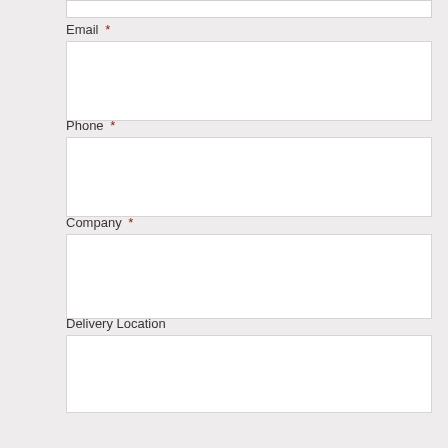Email *
Phone *
Company *
Delivery Location
How quickly do you need this quote?
1hr
4hrs
24hrs
48hrs
Order Details *